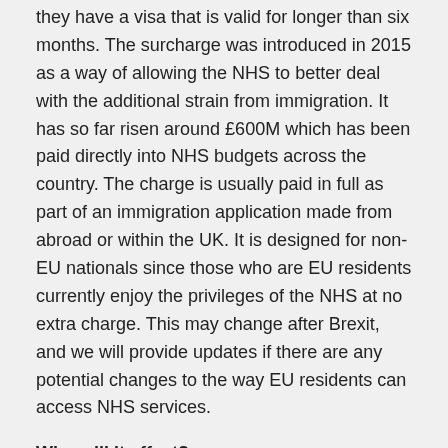they have a visa that is valid for longer than six months. The surcharge was introduced in 2015 as a way of allowing the NHS to better deal with the additional strain from immigration. It has so far risen around £600M which has been paid directly into NHS budgets across the country. The charge is usually paid in full as part of an immigration application made from abroad or within the UK. It is designed for non-EU nationals since those who are EU residents currently enjoy the privileges of the NHS at no extra charge. This may change after Brexit, and we will provide updates if there are any potential changes to the way EU residents can access NHS services.
Who will it affect?
The immigration health surcharge rise will affect everyone who is currently paying the annual charge, including temporary spouse and de facto partner visa holders. It is those who are from outside of the European...